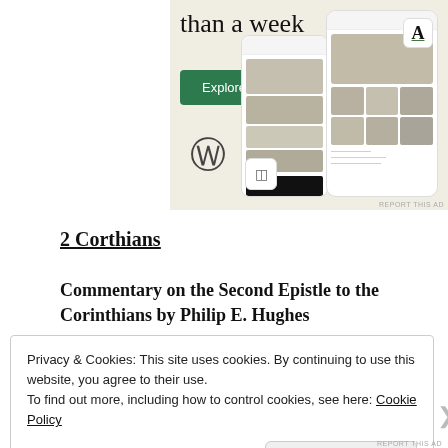[Figure (screenshot): WordPress advertisement banner with 'than a week' heading, 'Explore options' green button, WordPress logo, and mobile app screenshots showing food/recipe content]
2 Corthians
Commentary on the Second Epistle to the Corinthians by Philip E. Hughes
Privacy & Cookies: This site uses cookies. By continuing to use this website, you agree to their use.
To find out more, including how to control cookies, see here: Cookie Policy
Close and accept